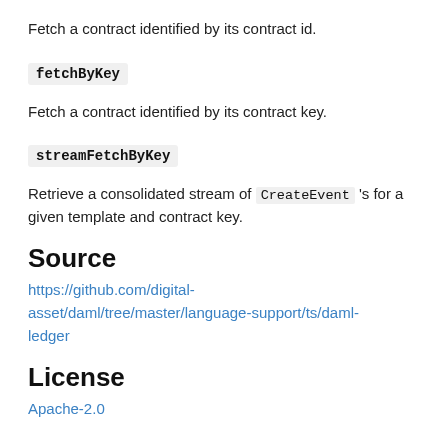Fetch a contract identified by its contract id.
fetchByKey
Fetch a contract identified by its contract key.
streamFetchByKey
Retrieve a consolidated stream of CreateEvent 's for a given template and contract key.
Source
https://github.com/digital-asset/daml/tree/master/language-support/ts/daml-ledger
License
Apache-2.0